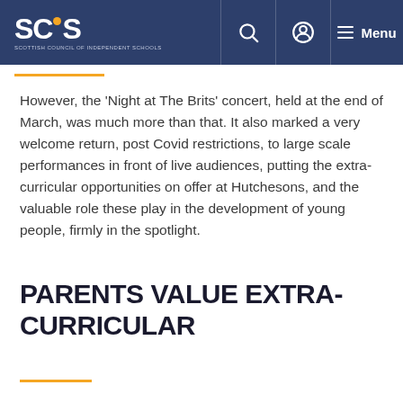SCIS – Scottish Council of Independent Schools
However, the 'Night at The Brits' concert, held at the end of March, was much more than that. It also marked a very welcome return, post Covid restrictions, to large scale performances in front of live audiences, putting the extra-curricular opportunities on offer at Hutchesons, and the valuable role these play in the development of young people, firmly in the spotlight.
PARENTS VALUE EXTRA-CURRICULAR